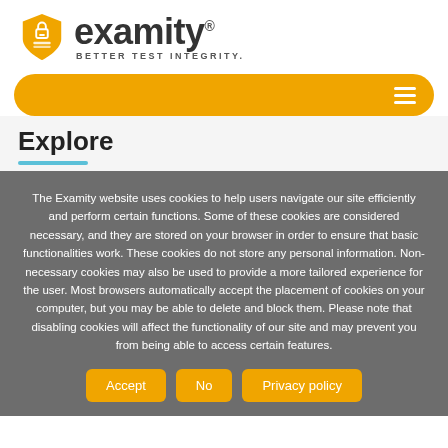[Figure (logo): Examity logo with orange shield icon containing a lock symbol and the text 'examity® BETTER TEST INTEGRITY.']
[Figure (other): Orange rounded navigation bar with hamburger menu icon on the right]
Explore
The Examity website uses cookies to help users navigate our site efficiently and perform certain functions. Some of these cookies are considered necessary, and they are stored on your browser in order to ensure that basic functionalities work. These cookies do not store any personal information. Non-necessary cookies may also be used to provide a more tailored experience for the user. Most browsers automatically accept the placement of cookies on your computer, but you may be able to delete and block them. Please note that disabling cookies will affect the functionality of our site and may prevent you from being able to access certain features.
Accept
No
Privacy policy